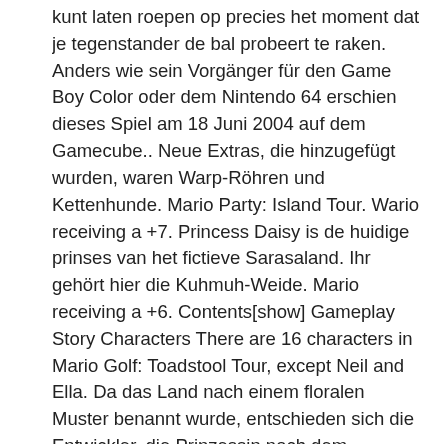kunt laten roepen op precies het moment dat je tegenstander de bal probeert te raken. Anders wie sein Vorgänger für den Game Boy Color oder dem Nintendo 64 erschien dieses Spiel am 18 Juni 2004 auf dem Gamecube.. Neue Extras, die hinzugefügt wurden, waren Warp-Röhren und Kettenhunde. Mario Party: Island Tour. Wario receiving a +7. Princess Daisy is de huidige prinses van het fictieve Sarasaland. Ihr gehört hier die Kuhmuh-Weide. Mario receiving a +6. Contents[show] Gameplay Story Characters There are 16 characters in Mario Golf: Toadstool Tour, except Neil and Ella. Da das Land nach einem floralen Muster benannt wurde, entschieden sich die Entwickler, die Prinzessin nach dem Gänseblümchen (eng. [2] Das Spiel erschien in Europa am 16. Princess Daisy in Mario Golf: Toadstool Tour. [3], Ihren ersten Auftritt in der Mario-Party-Reihe hatte sie im Spiel Mario Party 3, wo sie von Jen Taylor synchronisiert wurde. Peach's Castle in a golf course; Mario at the tee; Fore! [9]